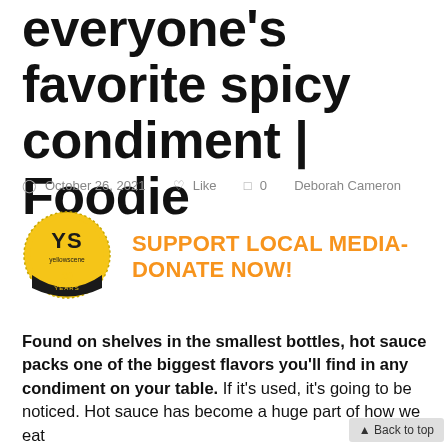everyone's favorite spicy condiment | Foodie
October 26, 2021   ♡ Like   ⌂ 0   Deborah Cameron
[Figure (logo): YS Yellowscene 20 Years badge/logo - circular gold and yellow badge]
SUPPORT LOCAL MEDIA-DONATE NOW!
Found on shelves in the smallest bottles, hot sauce packs one of the biggest flavors you'll find in any condiment on your table. If it's used, it's going to be noticed. Hot sauce has become a huge part of how we eat and our food as a condiment/identity. food lover. But